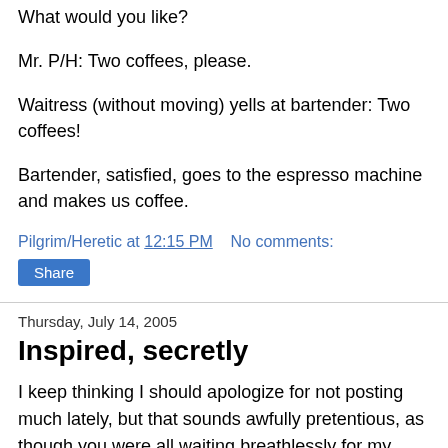What would you like?
Mr. P/H: Two coffees, please.
Waitress (without moving) yells at bartender: Two coffees!
Bartender, satisfied, goes to the espresso machine and makes us coffee.
Pilgrim/Heretic at 12:15 PM   No comments:
Share
Thursday, July 14, 2005
Inspired, secretly
I keep thinking I should apologize for not posting much lately, but that sounds awfully pretentious, as though you were all waiting breathlessly for my next words of wisdom. I doubt that's the case, but anyhow, I've missed being able to write more. My little head's packed full of ideas, but I've had